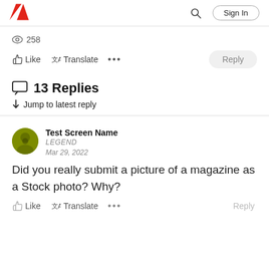Adobe — Sign In
258
Like  Translate  ...  Reply
13 Replies
↓ Jump to latest reply
Test Screen Name
LEGEND
Mar 29, 2022
Did you really submit a picture of a magazine as a Stock photo? Why?
Like  Translate  ...  Reply